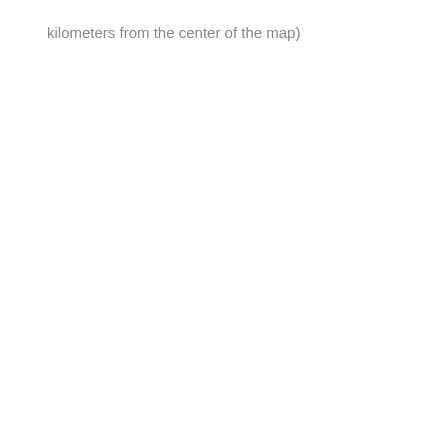kilometers from the center of the map)